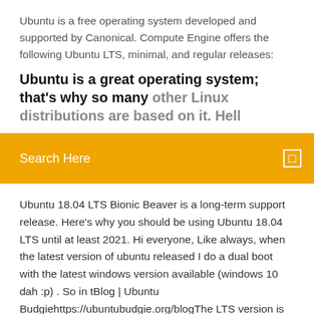Ubuntu is a free operating system developed and supported by Canonical. Compute Engine offers the following Ubuntu LTS, minimal, and regular releases:
Ubuntu is a great operating system; that's why so many other Linux distributions are based on it. Hello
Search Here
Ubuntu 18.04 LTS Bionic Beaver is a long-term support release. Here's why you should be using Ubuntu 18.04 LTS until at least 2021. Hi everyone, Like always, when the latest version of ubuntu released I do a dual boot with the latest windows version available (windows 10 dah :p) . So in tBlog | Ubuntu Budgiehttps://ubuntubudgie.org/blogThe LTS version is supported for 3 years while the regular releases are supported for 9 months. Continue Reading "Ubuntu Budgie 18.04.3 LTS Released!" Latest Ubuntu news, how-to tutorials, ubuntu games